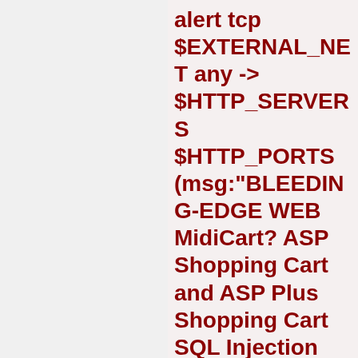alert tcp $EXTERNAL_NET any -> $HTTP_SERVERS $HTTP_PORTS (msg:"BLEEDING-EDGE WEB MidiCart? ASP Shopping Cart and ASP Plus Shopping Cart SQL Injection Attempt -- item_show.asp id2006quant UNION SELECT"; flow:established,to_server; uricontent:"/item_show.asp"; nocase; uricontent:"id2006quant="; nocase; uricontent:"UNION"; nocase; pcre:"/(+UNION|+SELECT";